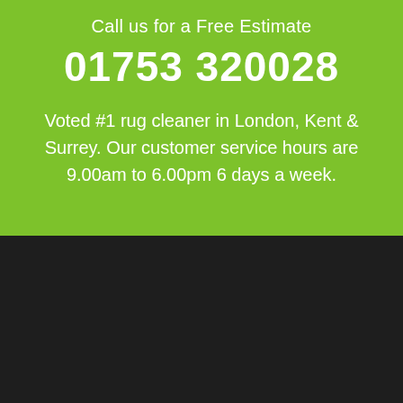Call us for a Free Estimate
01753 320028
Voted #1 rug cleaner in London, Kent & Surrey. Our customer service hours are 9.00am to 6.00pm 6 days a week.